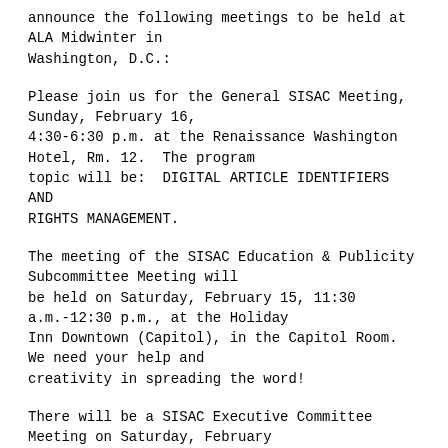announce the following meetings to be held at ALA Midwinter in Washington, D.C.:
Please join us for the General SISAC Meeting, Sunday, February 16, 4:30-6:30 p.m. at the Renaissance Washington Hotel, Rm. 12. The program topic will be: DIGITAL ARTICLE IDENTIFIERS AND RIGHTS MANAGEMENT.
The meeting of the SISAC Education & Publicity Subcommittee Meeting will be held on Saturday, February 15, 11:30 a.m.-12:30 p.m., at the Holiday Inn Downtown (Capitol), in the Capitol Room. We need your help and creativity in spreading the word!
There will be a SISAC Executive Committee Meeting on Saturday, February